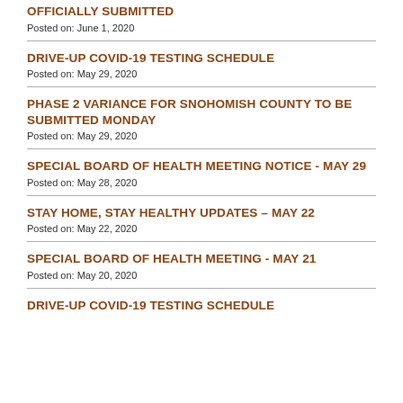OFFICIALLY SUBMITTED
Posted on: June 1, 2020
DRIVE-UP COVID-19 TESTING SCHEDULE
Posted on: May 29, 2020
PHASE 2 VARIANCE FOR SNOHOMISH COUNTY TO BE SUBMITTED MONDAY
Posted on: May 29, 2020
SPECIAL BOARD OF HEALTH MEETING NOTICE - MAY 29
Posted on: May 28, 2020
STAY HOME, STAY HEALTHY UPDATES – MAY 22
Posted on: May 22, 2020
SPECIAL BOARD OF HEALTH MEETING - MAY 21
Posted on: May 20, 2020
DRIVE-UP COVID-19 TESTING SCHEDULE